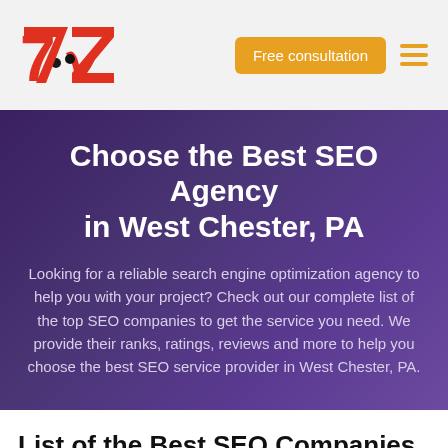7Z logo | Free consultation | hamburger menu
Choose the Best SEO Agency in West Chester, PA
Looking for a reliable search engine optimization agency to help you with your project? Check out our complete list of the top SEO companies to get the service you need. We provide their ranks, ratings, reviews and more to help you choose the best SEO service provider in West Chester, PA.
List of the Best SEO Companies in West Chester, PA